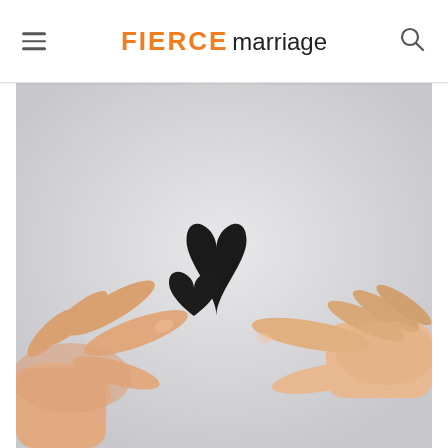FIERCE marriage
[Figure (photo): Two hands from opposite sides each holding a small black paper heart cutout between them, against a light grey background.]